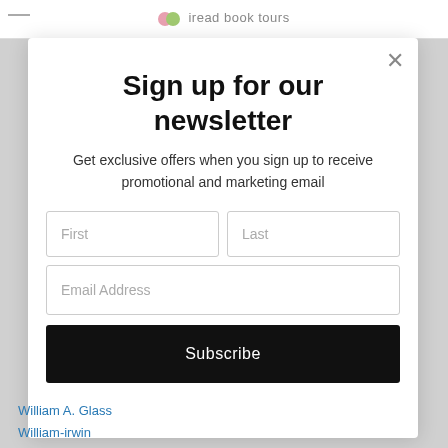iread book tours
Sign up for our newsletter
Get exclusive offers when you sign up to receive promotional and marketing email
First | Last | Email Address | Subscribe
William A. Glass
William-irwin